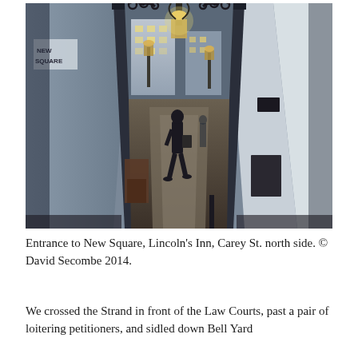[Figure (photo): Archway entrance to New Square, Lincoln's Inn, viewed from Carey Street north side. A figure walks through the passage towards a courtyard with lamps, greenery, and buildings visible beyond. The image is taken at dusk or early evening with street lighting visible.]
Entrance to New Square, Lincoln's Inn, Carey St. north side. © David Secombe 2014.
We crossed the Strand in front of the Law Courts, past a pair of loitering petitioners, and sidled down Bell Yard